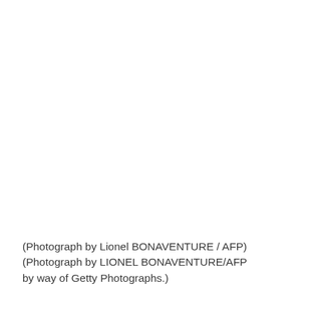(Photograph by Lionel BONAVENTURE / AFP) (Photograph by LIONEL BONAVENTURE/AFP by way of Getty Photographs.)